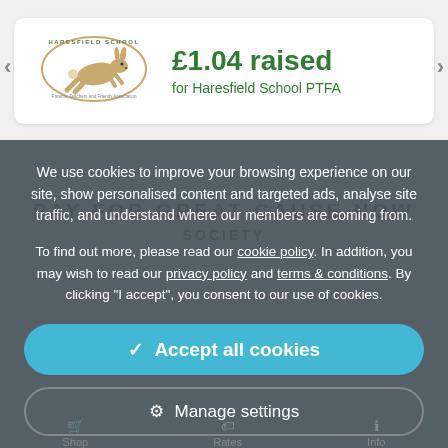[Figure (logo): Haresfield School logo with running hare and text 'Parents, Teachers and Friends Association']
£1.04 raised for Haresfield School PTFA
We use cookies to improve your browsing experience on our site, show personalised content and targeted ads, analyse site traffic, and understand where our members are coming from.
To find out more, please read our cookie policy. In addition, you may wish to read our privacy policy and terms & conditions. By clicking "I accept", you consent to our use of cookies.
✓ Accept all cookies
⚙ Manage settings